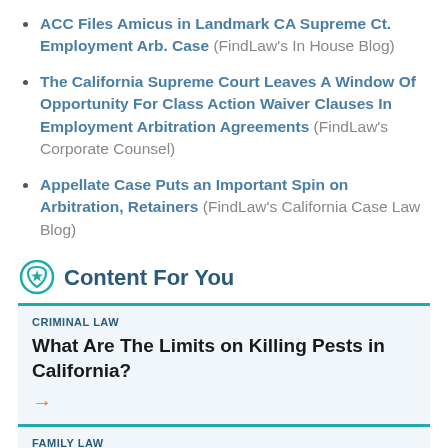ACC Files Amicus in Landmark CA Supreme Ct. Employment Arb. Case (FindLaw's In House Blog)
The California Supreme Court Leaves A Window Of Opportunity For Class Action Waiver Clauses In Employment Arbitration Agreements (FindLaw's Corporate Counsel)
Appellate Case Puts an Important Spin on Arbitration, Retainers (FindLaw's California Case Law Blog)
Content For You
CRIMINAL LAW
What Are The Limits on Killing Pests in California?
FAMILY LAW
Spanking Is Not Child Abuse, Court Rules